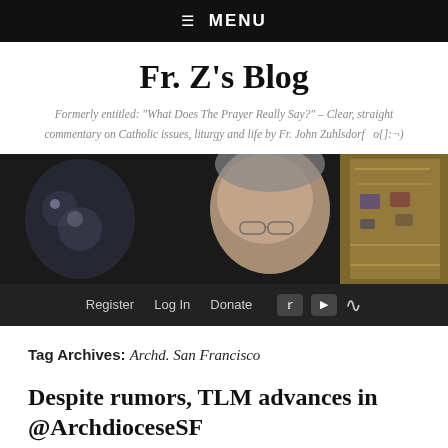☰ MENU
Fr. Z's Blog
Formerly entitled: "What Does The Prayer Really Say?" – Clear, straight commentary on Catholic issues, liturgy and life by Fr. John Zuhlsdorf   o{]:¬)
[Figure (photo): Photo of a person wearing glasses looking at an ornate golden religious book or artifact against a dark background]
Register   Log In   Donate  [Twitter] [YouTube] [RSS]
Tag Archives: Archd. San Francisco
Despite rumors, TLM advances in @ArchdioceseSF
Posted on 3 July 2021 by Fr. John Zuhlsdorf